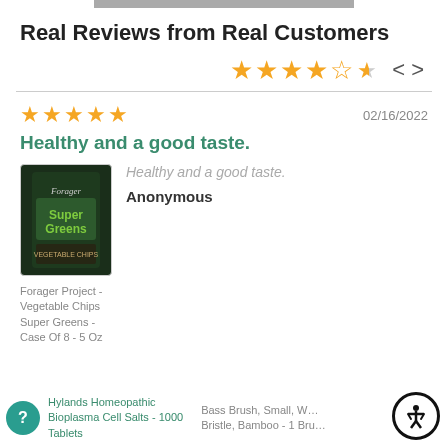Real Reviews from Real Customers
★★★★★½ < >
★★★★★  02/16/2022
Healthy and a good taste.
[Figure (photo): Forager Project Vegetable Chips Super Greens product bag]
Healthy and a good taste.
Anonymous
Forager Project - Vegetable Chips Super Greens - Case Of 8 - 5 Oz
Hylands Homeopathic Bioplasma Cell Salts - 1000 Tablets   Bass Brush, Small, Wild Bristle, Bamboo - 1 Bru...